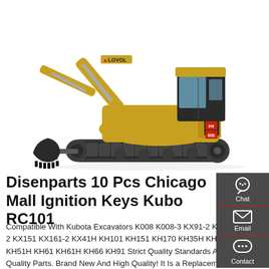[Figure (photo): Yellow Lovol mini excavator (model FR60E) on white background, side view showing boom, arm, bucket, cab, and undercarriage tracks.]
Disenparts 10 Pcs Chicago Mall Ignition Keys Kubo RC101
Compatible With Kubota Excavators K008 K008-3 KX91-2 KX101 KX121-2 KX151 KX161-2 KX41H KH101 KH151 KH170 KH35H KH41 KH51 KH51H KH61 KH61H KH66 KH91 Strict Quality Standards And Superior Quality Parts. Brand New And High Quality! It Is a Replacement Part, Not Original